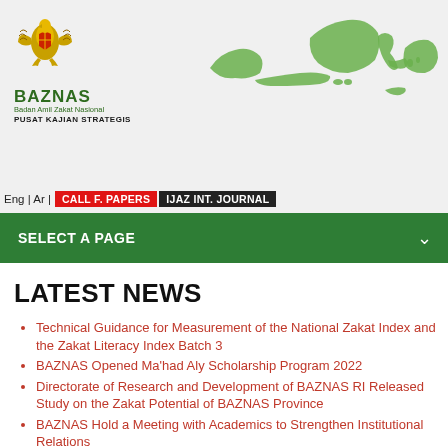[Figure (logo): BAZNAS Badan Amil Zakat Nasional Pusat Kajian Strategis logo with Garuda emblem]
[Figure (map): Indonesia archipelago map outline in green]
Eng | Ar | CALL F. PAPERS  IJAZ INT. JOURNAL
SELECT A PAGE
LATEST NEWS
Technical Guidance for Measurement of the National Zakat Index and the Zakat Literacy Index Batch 3
BAZNAS Opened Ma'had Aly Scholarship Program 2022
Directorate of Research and Development of BAZNAS RI Released Study on the Zakat Potential of BAZNAS Province
BAZNAS Hold a Meeting with Academics to Strengthen Institutional Relations
BAZNAS RI Held Public Expose of Qurban Economy in 2022
BAZNAS Role for Disaster Damaged Areas in Bogor
BAZNAS DKPN Research Team Releases Official News The Economic Potential of Qurban in 2022